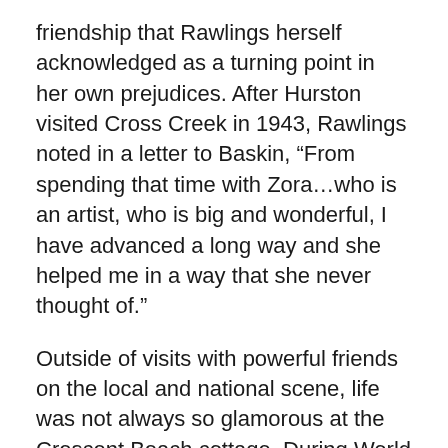friendship that Rawlings herself acknowledged as a turning point in her own prejudices. After Hurston visited Cross Creek in 1943, Rawlings noted in a letter to Baskin, “From spending that time with Zora…who is an artist, who is big and wonderful, I have advanced a long way and she helped me in a way that she never thought of.”
Outside of visits with powerful friends on the local and national scene, life was not always so glamorous at the Crescent Beach cottage. During World War II, while Baskin was serving overseas, Rawlings volunteered as a plane and submarine spotter for the U.S. Coast Guard. In her almost daily letters to Baskin, she kept him up to date on the latest news from home, including the devastating fire at Castle Warden in April 1944 that took the life of the couple’s dear friend, Ruth Pickering.
After Baskin returned from the war, he sold Castle Warden and took over the management